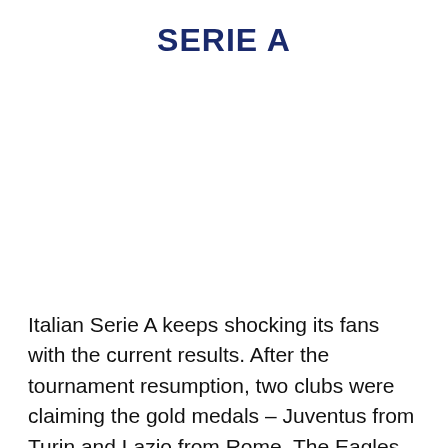SERIE A
Italian Serie A keeps shocking its fans with the current results. After the tournament resumption, two clubs were claiming the gold medals – Juventus from Turin and Lazio from Rome. The Eagles have made several mistakes and lost points that are so important for their